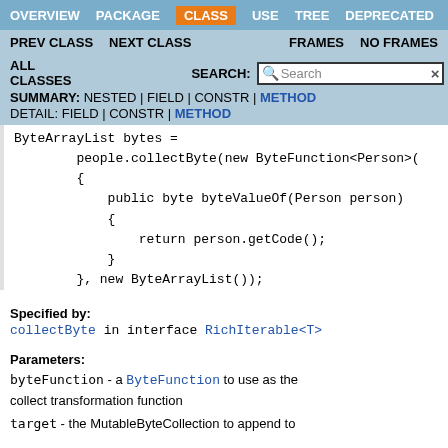OVERVIEW  PACKAGE  CLASS  USE  TREE  DEPRECATED
PREV CLASS  NEXT CLASS  FRAMES  NO FRAMES
ALL CLASSES  SEARCH:  SUMMARY: NESTED | FIELD | CONSTR | METHOD  DETAIL: FIELD | CONSTR | METHOD
ByteArrayList bytes =
        people.collectByte(new ByteFunction<Person>()
        {
            public byte byteValueOf(Person person)
            {
                return person.getCode();
            }
        }, new ByteArrayList());
Specified by:
collectByte in interface RichIterable<T>
Parameters:
byteFunction - a ByteFunction to use as the collect transformation function
target - the MutableByteCollection to append to